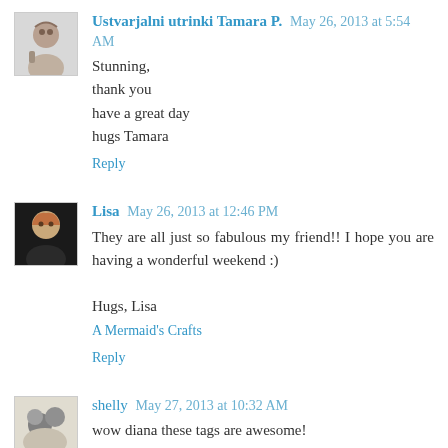Ustvarjalni utrinki Tamara P. May 26, 2013 at 5:54 AM
Stunning,
thank you
have a great day
hugs Tamara
Reply
Lisa May 26, 2013 at 12:46 PM
They are all just so fabulous my friend!! I hope you are having a wonderful weekend :)

Hugs, Lisa
A Mermaid's Crafts
Reply
shelly May 27, 2013 at 10:32 AM
wow diana these tags are awesome!
Reply